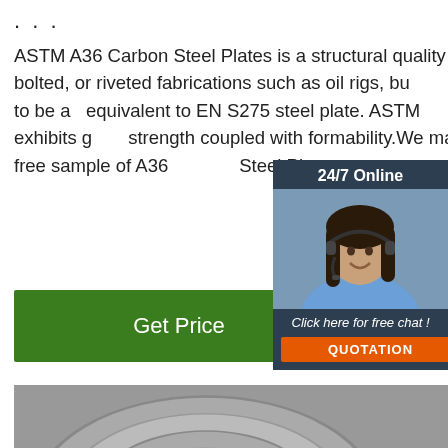...
ASTM A36 Carbon Steel Plates is a structural quality product designed for use in welded, bolted, or riveted fabrications such as oil rigs, buildings and bridges. ASTM A36 is known to be a equivalent to EN S275 steel plate. ASTM plate is a low carbon steel that exhibits good strength coupled with formability. We manufacture. We can also provide free sample of A36 Steel Plate ...
[Figure (other): Chat widget showing a woman with headset, '24/7 Online' header, 'Click here for free chat!' text, and an orange QUOTATION button]
[Figure (other): Green 'Get Price' button]
[Figure (photo): Steel coils/rolls photograph with TOP watermark logo in bottom right]